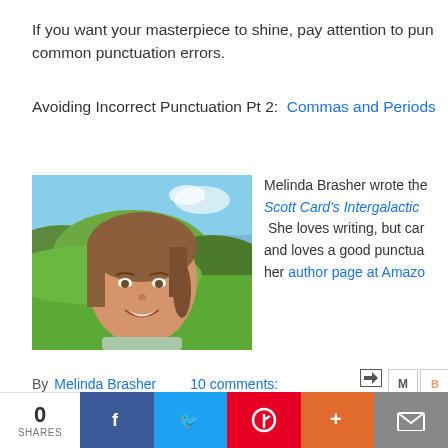If you want your masterpiece to shine, pay attention to pun common punctuation errors.
Avoiding Incorrect Punctuation Pt 2:  Commas and Periods
[Figure (photo): Portrait photo of Melinda Brasher smiling outdoors on a green hillside with mountains in background]
Melinda Brasher wrote the Scott Card's Intergalactic She loves writing, but car and loves a good punctua her author page at Amazo
By Melinda Brasher   10 comments:
0 SHARES